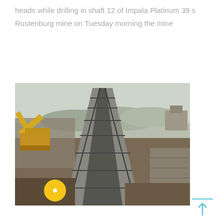heads while drilling in shaft 12 of Impala Platinum 39 s Rustenburg mine on Tuesday morning the mine
[Figure (photo): Outdoor mining site showing a long conveyor belt or rail track extending into the distance, with heavy machinery including a yellow excavator on the left side, muddy terrain, stone walls on the right, and hills in the background.]